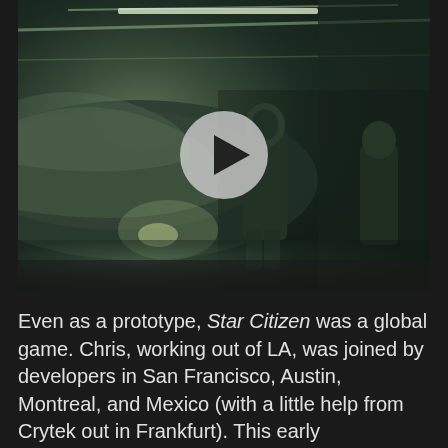[Figure (screenshot): Video thumbnail showing a dark sci-fi hangar scene with two figures in space suits standing near a large spacecraft. A white play button circle overlays the center of the image.]
Even as a prototype, Star Citizen was a global game. Chris, working out of LA, was joined by developers in San Francisco, Austin, Montreal, and Mexico (with a little help from Crytek out in Frankfurt). This early